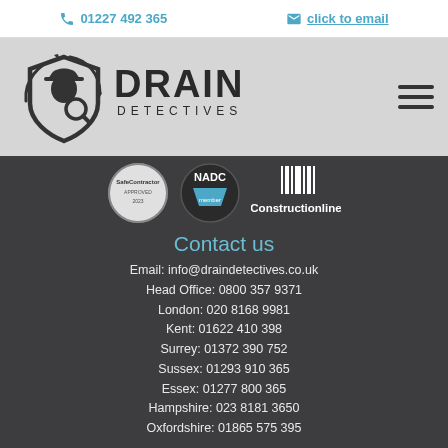01227 492 365   click to email
[Figure (logo): Drain Detectives logo with shield and detective figure, company name DRAIN DETECTIVES]
[Figure (logo): SafeContractor, NADC member, and Constructionline certification badges]
Contact us
Email: info@draindetectives.co.uk
Head Office: 0800 357 9371
London: 020 8168 9981
Kent: 01622 410 398
Surrey: 01372 390 752
Sussex: 01293 910 365
Essex: 01277 800 365
Hampshire: 023 8181 3650
Oxfordshire: 01865 575 395